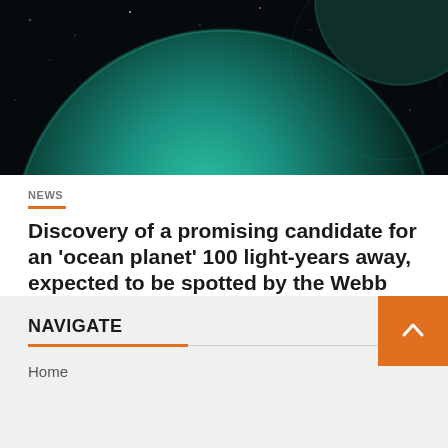[Figure (illustration): Space image showing a teal/green planet or celestial body against a black starfield background, partially cropped at the top.]
NEWS
Discovery of a promising candidate for an 'ocean planet' 100 light-years away, expected to be spotted by the Webb Space Telescope | sorae space portal site
August 28, 2022  Nathaniel Loxley
NAVIGATE
Home